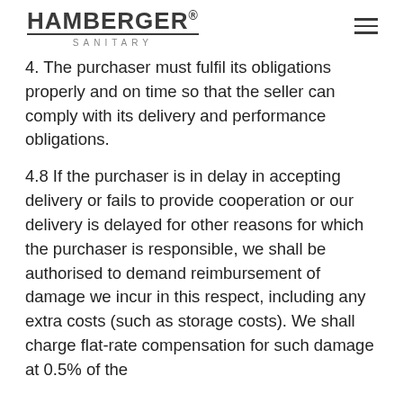HAMBERGER® SANITARY
4. The purchaser must fulfil its obligations properly and on time so that the seller can comply with its delivery and performance obligations.
4.8 If the purchaser is in delay in accepting delivery or fails to provide cooperation or our delivery is delayed for other reasons for which the purchaser is responsible, we shall be authorised to demand reimbursement of damage we incur in this respect, including any extra costs (such as storage costs). We shall charge flat-rate compensation for such damage at 0.5% of the